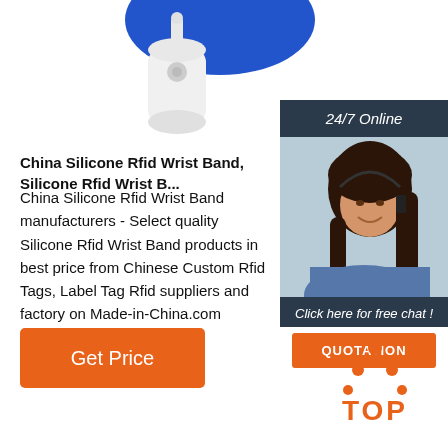[Figure (photo): RFID wristband tag product image showing a blue and white silicone RFID tag device, partially cropped at top of page]
[Figure (photo): Sidebar advertisement with dark background showing '24/7 Online' header, a woman wearing a headset and smiling, text 'Click here for free chat!', and an orange QUOTATION button]
China Silicone Rfid Wrist Band, Silicone Rfid Wrist B...
China Silicone Rfid Wrist Band manufacturers - Select quality Silicone Rfid Wrist Band products in best price from Chinese Custom Rfid Tags, Label Tag Rfid suppliers and factory on Made-in-China.com
[Figure (other): Orange 'Get Price' button]
[Figure (logo): Orange TOP logo with dots forming a triangle above the text TOP]